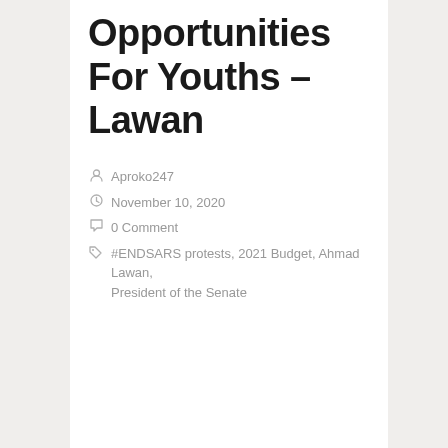Opportunities For Youths – Lawan
Aproko247
November 10, 2020
0 Comment
#ENDSARS protests, 2021 Budget, Ahmad Lawan, President of the Senate